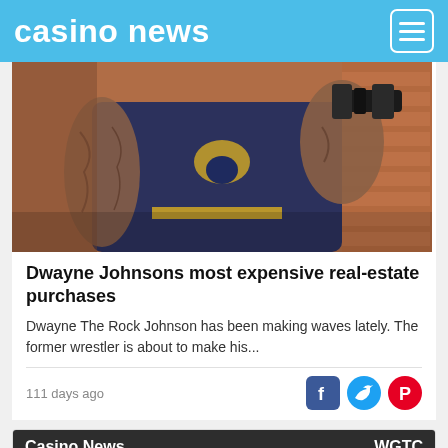casino news
[Figure (photo): Muscular man lifting a dumbbell, wearing a dark navy tank top with a bull skull logo, heavily tattooed arms, gym setting with brick wall background.]
Dwayne Johnsons most expensive real-estate purchases
Dwayne The Rock Johnson has been making waves lately. The former wrestler is about to make his...
111 days ago
[Figure (other): Social media share icons: Facebook (blue), Twitter (blue bird), Pinterest (red).]
Casino News   WGTC
[Figure (photo): Partial image of a silver-haired man in a dark setting, part of an article preview card.]